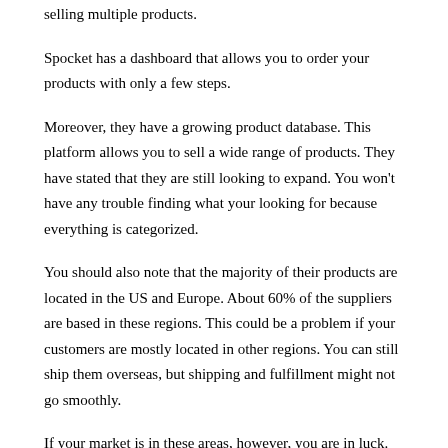selling multiple products.
Spocket has a dashboard that allows you to order your products with only a few steps.
Moreover, they have a growing product database. This platform allows you to sell a wide range of products. They have stated that they are still looking to expand. You won't have any trouble finding what your looking for because everything is categorized.
You should also note that the majority of their products are located in the US and Europe. About 60% of the suppliers are based in these regions. This could be a problem if your customers are mostly located in other regions. You can still ship them overseas, but shipping and fulfillment might not go smoothly.
If your market is in these areas, however, you are in luck. There's a big chance that your customers live nearby those fulfillment centers. You'll